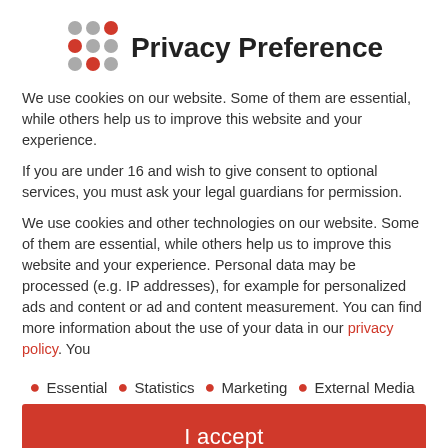[Figure (logo): 3x3 grid of dots — top-right and middle-left dots are red, others are grey — serving as a logo beside the Privacy Preference title]
Privacy Preference
We use cookies on our website. Some of them are essential, while others help us to improve this website and your experience.
If you are under 16 and wish to give consent to optional services, you must ask your legal guardians for permission.
We use cookies and other technologies on our website. Some of them are essential, while others help us to improve this website and your experience. Personal data may be processed (e.g. IP addresses), for example for personalized ads and content or ad and content measurement. You can find more information about the use of your data in our privacy policy. You
Essential
Statistics
Marketing
External Media
I accept
Accept only essential cookies
Individual Privacy Preferences